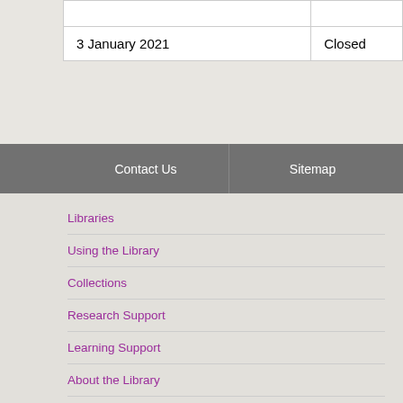| Date | Status |
| --- | --- |
|  |  |
| 3 January 2021 | Closed |
Contact Us
Sitemap
Libraries
Using the Library
Collections
Research Support
Learning Support
About the Library
Help